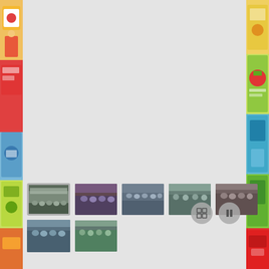[Figure (screenshot): Screenshot of an educational slideshow/gallery interface showing thumbnail images of children in a school setting. Left and right sides show colorful illustrated book covers/banners. The center area is a light gray panel. At the bottom, two rows of photo thumbnails are visible: top row has 5 small photos, bottom row has 2 small photos. On the right side of the thumbnail area are two circular control buttons (grid and pause icons). The first thumbnail in the top row is highlighted/selected with a border.]